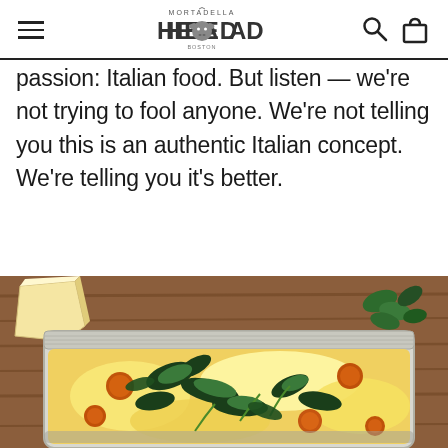Mortadella Head — navigation with logo, search and bag icons
passion: Italian food. But listen — we're not trying to fool anyone. We're not telling you this is an authentic Italian concept. We're telling you it's better.
[Figure (photo): Overhead photo of a cheesy baked lasagna or casserole in an aluminum foil tray, topped with broccoli rabe, meatballs, and melted cheese, set on a wooden surface with fresh spinach leaves and slices of parmesan cheese around it.]